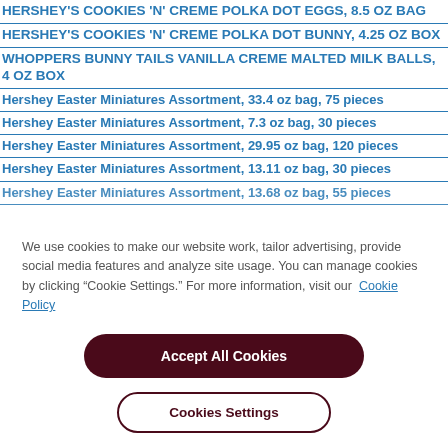HERSHEY'S COOKIES 'N' CREME Polka Dot Eggs, 8.5 oz bag
HERSHEY'S COOKIES 'N' CREME Polka Dot Bunny, 4.25 oz box
WHOPPERS Bunny Tails Vanilla Creme Malted Milk Balls, 4 oz box
Hershey Easter Miniatures Assortment, 33.4 oz bag, 75 pieces
Hershey Easter Miniatures Assortment, 7.3 oz bag, 30 pieces
Hershey Easter Miniatures Assortment, 29.95 oz bag, 120 pieces
Hershey Easter Miniatures Assortment, 13.11 oz bag, 30 pieces
Hershey Easter Miniatures Assortment, 13.68 oz bag, 55 pieces
We use cookies to make our website work, tailor advertising, provide social media features and analyze site usage. You can manage cookies by clicking “Cookie Settings.” For more information, visit our Cookie Policy
Accept All Cookies
Cookies Settings